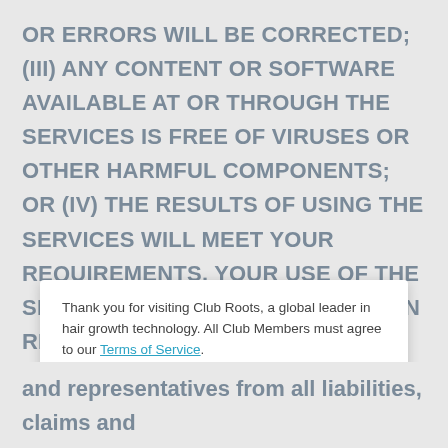OR ERRORS WILL BE CORRECTED; (III) ANY CONTENT OR SOFTWARE AVAILABLE AT OR THROUGH THE SERVICES IS FREE OF VIRUSES OR OTHER HARMFUL COMPONENTS; OR (IV) THE RESULTS OF USING THE SERVICES WILL MEET YOUR REQUIREMENTS. YOUR USE OF THE SERVICES IS SOLELY AT YOUR OWN RISK. SOME JURISDICTIONS LIMIT OR DO NOT ALLOW THE DISCLAIMER OF IMPLIED OR OTHER WARRANTIES, SO THE ABOVE DISCLAIMERS MAY NOT APPLY TO
Thank you for visiting Club Roots, a global leader in hair growth technology. All Club Members must agree to our Terms of Service.
I Agree
and representatives from all liabilities, claims and